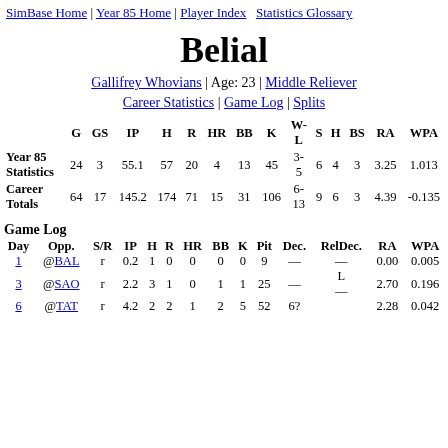SimBase Home | Year 85 Home | Player Index   Statistics Glossary
Belial
Gallifrey Whovians | Age: 23 | Middle Reliever
Career Statistics | Game Log | Splits
|  | G | GS | IP | H | R | HR | BB | K | W-L | S | H | BS | RA | WPA |
| --- | --- | --- | --- | --- | --- | --- | --- | --- | --- | --- | --- | --- | --- | --- |
| Year 85 Statistics | 24 | 3 | 55.1 | 57 | 20 | 4 | 13 | 45 | 3-5 | 6 | 4 | 3 | 3.25 | 1.013 |
| Career Totals | 64 | 17 | 145.2 | 174 | 71 | 15 | 31 | 106 | 6-13 | 9 | 6 | 3 | 4.39 | -0.135 |
Game Log
| Day | Opp. | S/R | IP | H | R | HR | BB | K | Pit | Dec. | RelDec. | RA | WPA |
| --- | --- | --- | --- | --- | --- | --- | --- | --- | --- | --- | --- | --- | --- |
| 1 | @BAL | r | 0.2 | 1 | 0 | 0 | 0 | 0 | 9 | — | — | 0.00 | 0.005 |
| 3 | @SAO | r | 2.2 | 3 | 1 | 0 | 1 | 1 | 25 | — | L — | 2.70 | 0.196 |
| 6 | @TAT | r | 4.2 | 2 | 2 | 1 | 2 | 5 | 52 | 6? |  | 2.28 | 0.042 |